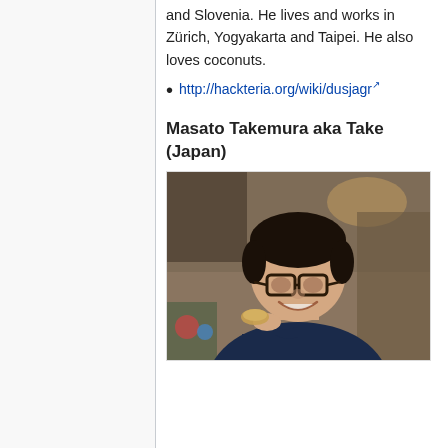and Slovenia. He lives and works in Zürich, Yogyakarta and Taipei. He also loves coconuts.
http://hackteria.org/wiki/dusjagr
Masato Takemura aka Take (Japan)
[Figure (photo): Photo of Masato Takemura, a smiling Asian man with glasses wearing a dark navy hoodie, holding a small food item, seated in what appears to be a home or cafe setting.]